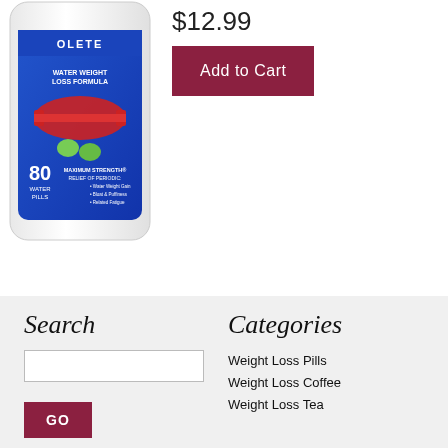[Figure (photo): Product image of a blue bag/package labeled 'WATER WEIGHT LOSS FORMULA' with 80 Water Pills, Maximum Strength relief of periodic water weight gain, bloat & puffiness, related fatigue. Shows green pills and a measuring tape graphic.]
$12.99
Add to Cart
Search
Categories
GO
Weight Loss Pills
Weight Loss Coffee
Weight Loss Tea